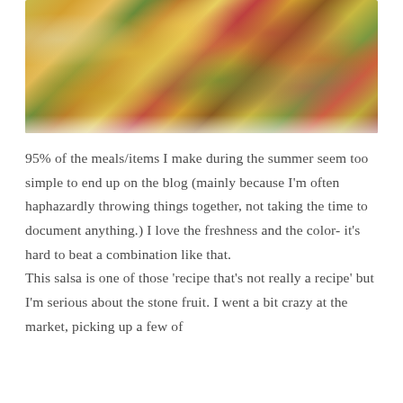[Figure (photo): Close-up photo of a colorful stone fruit salsa in a white bowl, showing chopped yellow and red fruit pieces, red onion, and fresh green herbs]
95% of the meals/items I make during the summer seem too simple to end up on the blog (mainly because I'm often haphazardly throwing things together, not taking the time to document anything.) I love the freshness and the color- it's hard to beat a combination like that.
This salsa is one of those 'recipe that's not really a recipe' but I'm serious about the stone fruit. I went a bit crazy at the market, picking up a few of